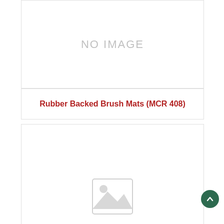[Figure (other): No image placeholder box with light gray text NO IMAGE]
Rubber Backed Brush Mats (MCR 408)
[Figure (photo): Product card with image placeholder icon (mountain and circle landscape placeholder graphic)]